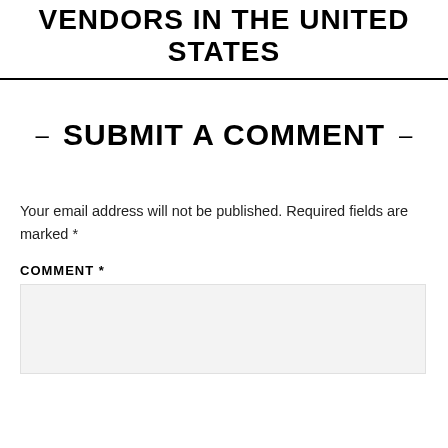VENDORS IN THE UNITED STATES
– SUBMIT A COMMENT –
Your email address will not be published. Required fields are marked *
COMMENT *